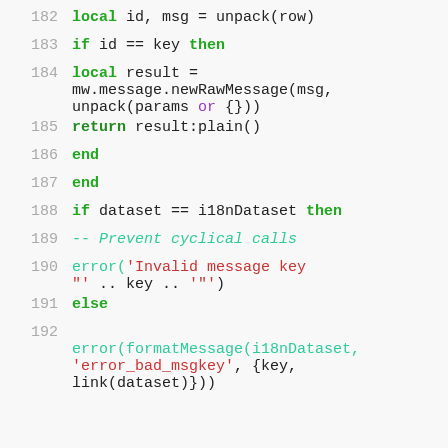Code snippet lines 182-192, Lua programming language showing message formatting and error handling logic